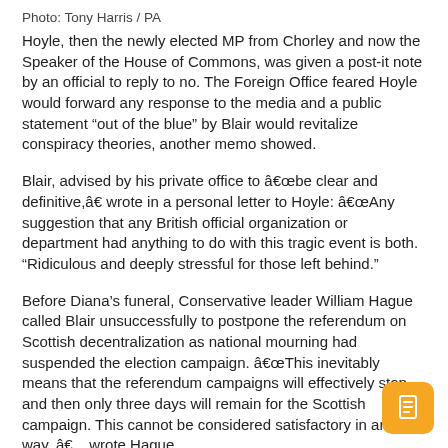Photo: Tony Harris / PA
Hoyle, then the newly elected MP from Chorley and now the Speaker of the House of Commons, was given a post-it note by an official to reply to no. The Foreign Office feared Hoyle would forward any response to the media and a public statement “out of the blue” by Blair would revitalize conspiracy theories, another memo showed.
Blair, advised by his private office to â€œbe clear and definitive,â€ wrote in a personal letter to Hoyle: â€œAny suggestion that any British official organization or department had anything to do with this tragic event is both. “Ridiculous and deeply stressful for those left behind.”
Before Diana’s funeral, Conservative leader William Hague called Blair unsuccessfully to postpone the referendum on Scottish decentralization as national mourning had suspended the election campaign. â€œThis inevitably means that the referendum campaigns will effectively stop and then only three days will remain for the Scottish campaign. This cannot be considered satisfactory in any way, â€    wrote Hague.